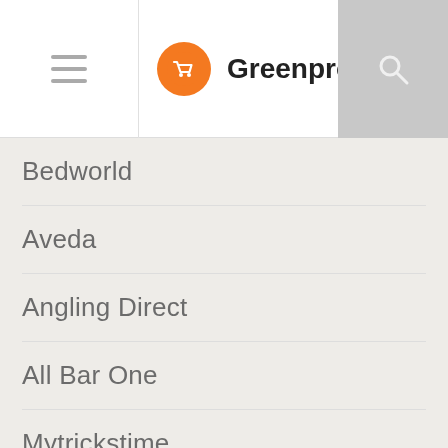Greenpromocode.com
Bedworld
Aveda
Angling Direct
All Bar One
Mytrickstime
Selfdefined
Bard
B…